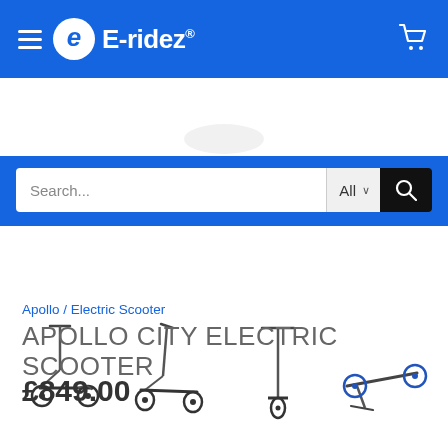E-ridez®
[Figure (screenshot): Four thumbnail product images of the Apollo City Electric Scooter from different angles: side view assembled, side view with kick-stand, folded upright view, and folded flat view]
Apollo / Electric Scooter
APOLLO CITY ELECTRIC SCOOTER
£849.00
Add to cart